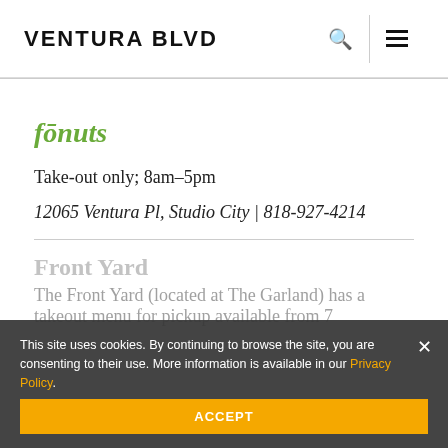VENTURA BLVD
fōnuts
Take-out only; 8am–5pm
12065 Ventura Pl, Studio City  |  818-927-4214
Front Yard
The Front Yard (located at The Garland) has a takeout menu for pickup available from 7
This site uses cookies. By continuing to browse the site, you are consenting to their use. More information is available in our Privacy Policy.